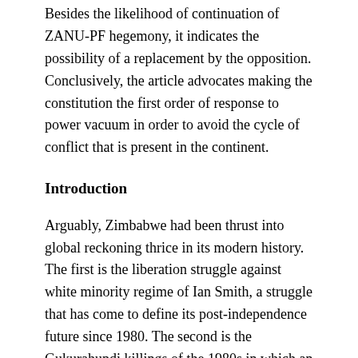Besides the likelihood of continuation of ZANU-PF hegemony, it indicates the possibility of a replacement by the opposition. Conclusively, the article advocates making the constitution the first order of response to power vacuum in order to avoid the cycle of conflict that is present in the continent.
Introduction
Arguably, Zimbabwe had been thrust into global reckoning thrice in its modern history. The first is the liberation struggle against white minority regime of Ian Smith, a struggle that has come to define its post-independence future since 1980. The second is the Gukurahundi killings of the 1980s in which an estimated 20,000 people were killed. And the third is the land reform program woven into the independence pact aftermath of the Lancaster House Dialogue. Although Zimbabwe African National Union